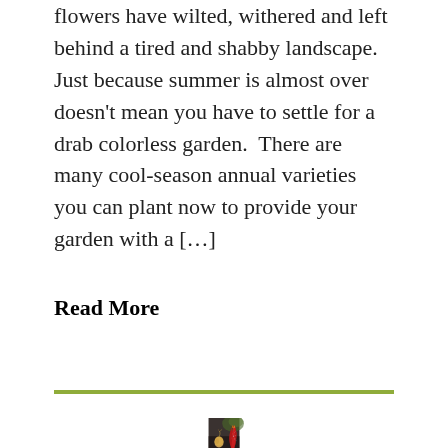flowers have wilted, withered and left behind a tired and shabby landscape.  Just because summer is almost over doesn't mean you have to settle for a drab colorless garden.  There are many cool-season annual varieties you can plant now to provide your garden with a […]
Read More
[Figure (photo): Close-up photo of a dry onion bulb on the left and a red tulip bud with water droplets on the right, against a dark blurred background]